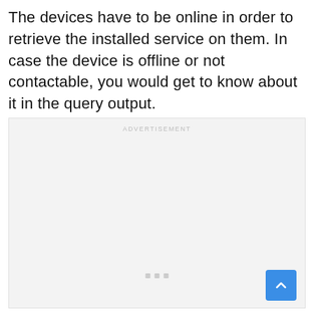The devices have to be online in order to retrieve the installed service on them. In case the device is offline or not contactable, you would get to know about it in the query output.
[Figure (other): Advertisement placeholder box with light gray background, 'ADVERTISEMENT' label at top center, three small gray dots/squares near the bottom center, and a blue scroll-to-top button in the bottom right corner.]